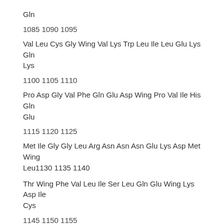Gln
1085 1090 1095
Val Leu Cys Gly Wing Val Lys Trp Leu Ile Leu Glu Lys Gln Lys
1100 1105 1110
Pro Asp Gly Val Phe Gln Glu Asp Wing Pro Val Ile His Gln Glu
1115 1120 1125
Met Ile Gly Gly Leu Arg Asn Asn Asn Glu Lys Asp Met Wing Leu1130 1135 1140
Thr Wing Phe Val Leu Ile Ser Leu Gln Glu Wing Lys Asp Ile Cys
1145 1150 1155
Glu Glu Gln Val Asn Be Leu Pro Gly Be Ile Thr Lys Wing Gly
1160 1165 1170